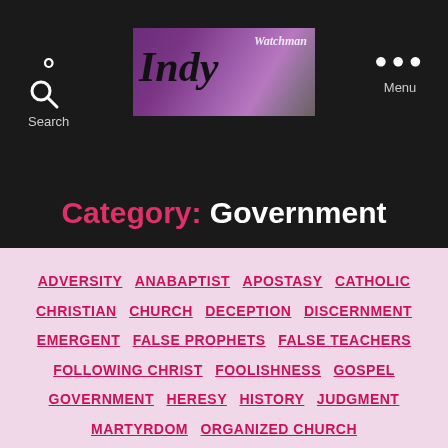[Figure (logo): Watchman Indy website logo banner with purple/mauve background and stylized text]
Category: Government
ADVERSITY ANABAPTIST APOSTASY CATHOLIC CHRISTIAN CHURCH DECEPTION DISCERNMENT EMERGENT FALSE PROPHETS FALSE TEACHERS FOLLOWING CHRIST FOOLISHNESS GOSPEL GOVERNMENT HERESY HISTORY JUDGMENT MARTYRDOM ORGANIZED CHURCH PERSECUTION POLITICS PREACHERS PROPHECY PROTESTANTISM REFORMATION RELIGION